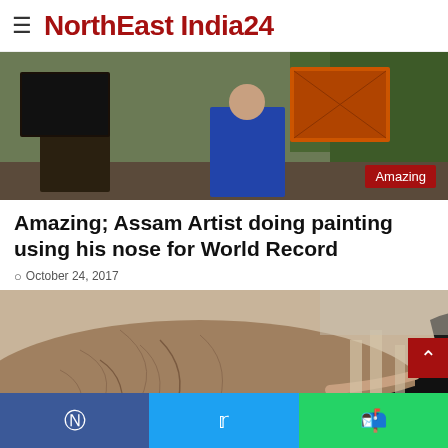NorthEast India24
[Figure (photo): A person holding a large painting outdoors, with trees in background. An 'Amazing' red badge is in the bottom right corner.]
Amazing; Assam Artist doing painting using his nose for World Record
October 24, 2017
[Figure (photo): A woman leaning closely over an elephant, touching its back with both hands.]